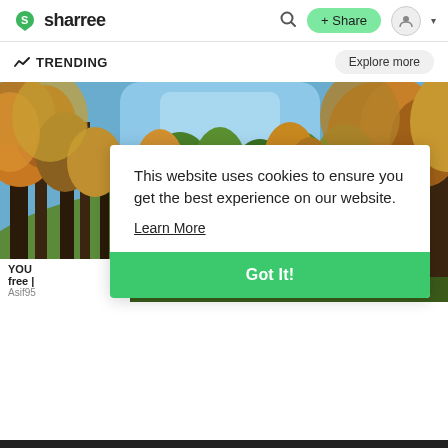sharree
TRENDING
[Figure (photo): Autumn forest scene with tall trees in orange, yellow and green foliage, blue sky visible above, road or path winding through the trees]
YOU free | Asif95
This website uses cookies to ensure you get the best experience on our website. Learn More Got It!